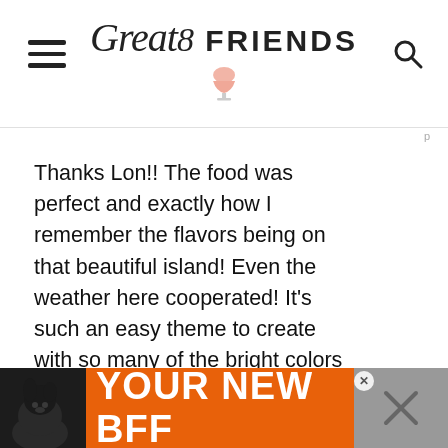Great 8 FRIENDS (logo with wine glass icon, hamburger menu, search icon)
Thanks Lon!! The food was perfect and exactly how I remember the flavors being on that beautiful island! Even the weather here cooperated! It's such an easy theme to create with so many of the bright colors that I love! Thanks for being such a Gr8 friend!
[Figure (screenshot): Orange advertisement bar at bottom with dog silhouette and text YOUR NEW BFF]
[Figure (infographic): Green circular heart/like button with count of 2, and green share button on right side]